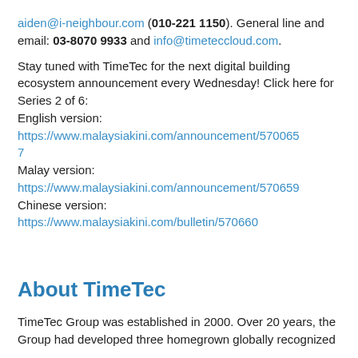aiden@i-neighbour.com (010-221 1150). General line and email: 03-8070 9933 and info@timeteccloud.com.
Stay tuned with TimeTec for the next digital building ecosystem announcement every Wednesday! Click here for Series 2 of 6:
English version:
https://www.malaysiakini.com/announcement/5706657
Malay version:
https://www.malaysiakini.com/announcement/570659
Chinese version:
https://www.malaysiakini.com/bulletin/570660
About TimeTec
TimeTec Group was established in 2000. Over 20 years, the Group had developed three homegrown globally recognized